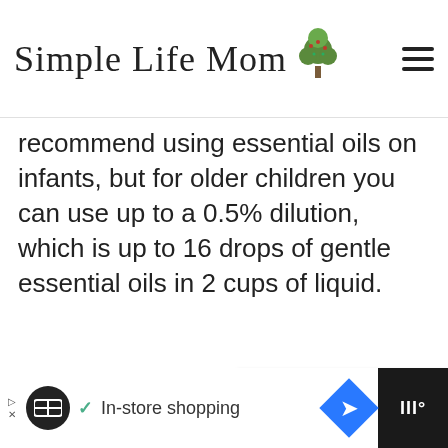Simple Life Mom
recommend using essential oils on infants, but for older children you can use up to a 0.5% dilution, which is up to 16 drops of gentle essential oils in 2 cups of liquid.
[Figure (screenshot): Gray placeholder content box area with floating heart and share buttons, and a 'What's Next' widget showing 'Homemade Spray...']
[Figure (infographic): Advertisement bar at the bottom showing 'In-store shopping' with icons]